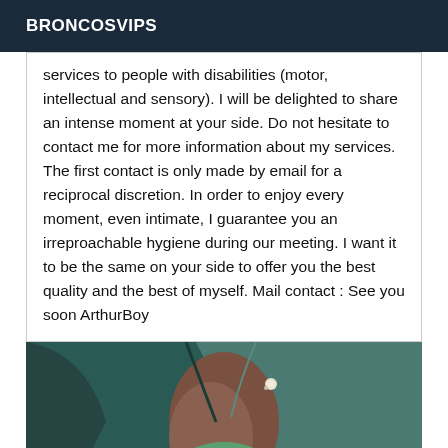BRONCOSVIPS
services to people with disabilities (motor, intellectual and sensory). I will be delighted to share an intense moment at your side. Do not hesitate to contact me for more information about my services. The first contact is only made by email for a reciprocal discretion. In order to enjoy every moment, even intimate, I guarantee you an irreproachable hygiene during our meeting. I want it to be the same on your side to offer you the best quality and the best of myself. Mail contact : See you soon ArthurBoy
[Figure (photo): Close-up photo of a person wearing a teal/green jacket and a green top, showing neck and chest area with a small pearl necklace.]